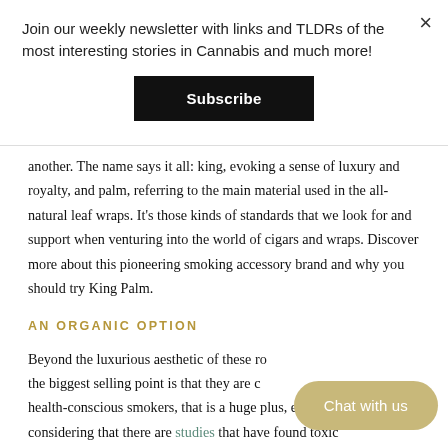Join our weekly newsletter with links and TLDRs of the most interesting stories in Cannabis and much more!
Subscribe
another. The name says it all: king, evoking a sense of luxury and royalty, and palm, referring to the main material used in the all-natural leaf wraps. It’s those kinds of standards that we look for and support when venturing into the world of cigars and wraps. Discover more about this pioneering smoking accessory brand and why you should try King Palm.
AN ORGANIC OPTION
Beyond the luxurious aesthetic of these ro the biggest selling point is that they are c or health-conscious smokers, that is a huge plus, especially considering that there are studies that have found toxic